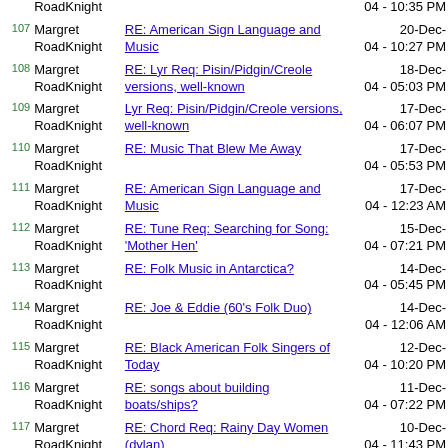| # | Author | Subject | Date |
| --- | --- | --- | --- |
|  | RoadKnight |  | 04 - 10:35 PM |
| 107 | Margret RoadKnight | RE: American Sign Language and Music | 20-Dec-04 - 10:27 PM |
| 108 | Margret RoadKnight | RE: Lyr Req: Pisin/Pidgin/Creole versions, well-known | 18-Dec-04 - 05:03 PM |
| 109 | Margret RoadKnight | Lyr Req: Pisin/Pidgin/Creole versions, well-known | 17-Dec-04 - 06:07 PM |
| 110 | Margret RoadKnight | RE: Music That Blew Me Away | 17-Dec-04 - 05:53 PM |
| 111 | Margret RoadKnight | RE: American Sign Language and Music | 17-Dec-04 - 12:23 AM |
| 112 | Margret RoadKnight | RE: Tune Req: Searching for Song: 'Mother Hen' | 15-Dec-04 - 07:21 PM |
| 113 | Margret RoadKnight | RE: Folk Music in Antarctica? | 14-Dec-04 - 05:45 PM |
| 114 | Margret RoadKnight | RE: Joe & Eddie (60's Folk Duo) | 14-Dec-04 - 12:06 AM |
| 115 | Margret RoadKnight | RE: Black American Folk Singers of Today | 12-Dec-04 - 10:20 PM |
| 116 | Margret RoadKnight | RE: songs about building boats/ships? | 11-Dec-04 - 07:22 PM |
| 117 | Margret RoadKnight | RE: Chord Req: Rainy Day Women (dylan) | 10-Dec-04 - 11:43 PM |
| 118 | Margret RoadKnight | Chord Req: Rainy Day Women (dylan) | 10-Dec-04 - 09:46 PM |